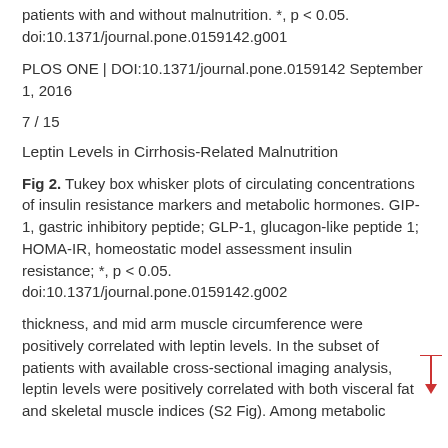patients with and without malnutrition. *, p < 0.05. doi:10.1371/journal.pone.0159142.g001
PLOS ONE | DOI:10.1371/journal.pone.0159142 September 1, 2016
7 / 15
Leptin Levels in Cirrhosis-Related Malnutrition
Fig 2. Tukey box whisker plots of circulating concentrations of insulin resistance markers and metabolic hormones. GIP-1, gastric inhibitory peptide; GLP-1, glucagon-like peptide 1; HOMA-IR, homeostatic model assessment insulin resistance; *, p < 0.05. doi:10.1371/journal.pone.0159142.g002
thickness, and mid arm muscle circumference were positively correlated with leptin levels. In the subset of patients with available cross-sectional imaging analysis, leptin levels were positively correlated with both visceral fat and skeletal muscle indices (S2 Fig). Among metabolic